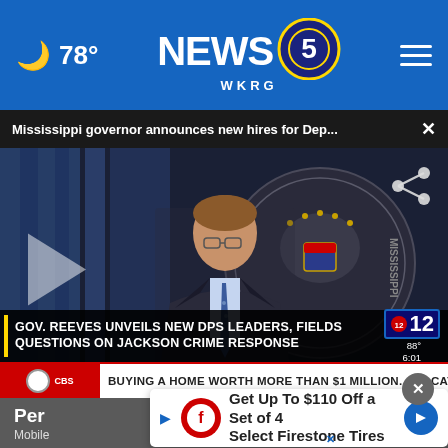☽ 78° NEWS 5 WKRG
Mississippi governor announces new hires for Dep... ×
[Figure (screenshot): Video thumbnail showing Mississippi Governor Reeves at a press conference podium with the Mississippi state seal in background. Lower-third chyron reads: GOV. REEVES UNVEILS NEW DPS LEADERS, FIELDS QUESTIONS ON JACKSON CRIME RESPONSE. Channel 12 bug showing 88° 6:01. Ticker: BUYING A HOME WORTH MORE THAN $1 MILLION. A CATHOLIC E HEADLINES]
Get Up To $110 Off a Set of 4 Select Firestone Tires
Per  Mobile  hrs ago